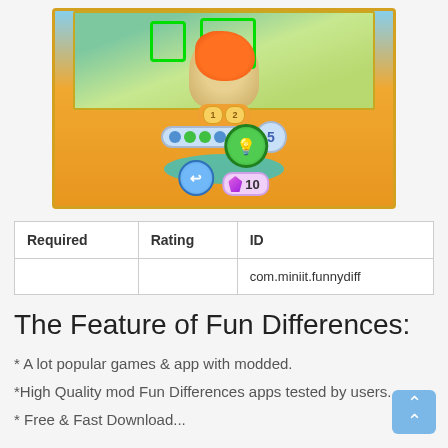[Figure (screenshot): Game screenshot of Fun Differences app showing a dog wearing a colorful hat, with green highlight rectangles, a progress bar showing dots, a number 5 badge, a back button, a hint button, and a gem cost badge showing 10. The UI has gold/orange decorative borders.]
| Required | Rating | ID |
| --- | --- | --- |
|  |  | com.miniit.funnydiff |
The Feature of Fun Differences:
* A lot popular games & app with modded.
*High Quality mod Fun Differences apps tested by users.
* Free & Fast Download...